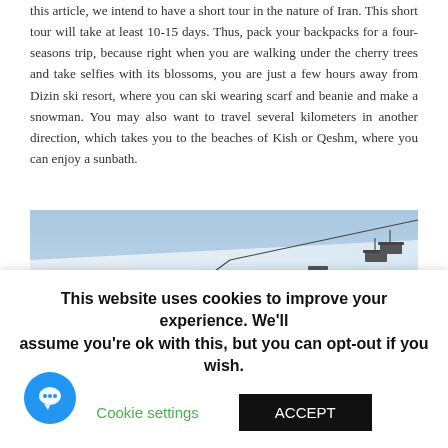this article, we intend to have a short tour in the nature of Iran. This short tour will take at least 10-15 days. Thus, pack your backpacks for a four-seasons trip, because right when you are walking under the cherry trees and take selfies with its blossoms, you are just a few hours away from Dizin ski resort, where you can ski wearing scarf and beanie and make a snowman. You may also want to travel several kilometers in another direction, which takes you to the beaches of Kish or Qeshm, where you can enjoy a sunbath.
[Figure (photo): A snowy ski slope with ski lift chairs visible on the right side, taken in winter with clear sky in the background. Appears to be Dizin ski resort in Iran.]
This website uses cookies to improve your experience. We'll assume you're ok with this, but you can opt-out if you wish.
Cookie settings
ACCEPT